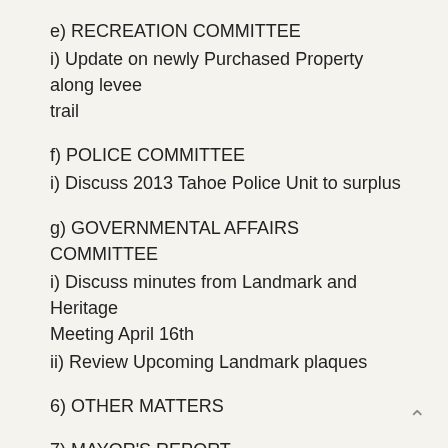e) RECREATION COMMITTEE
i) Update on newly Purchased Property along levee trail
f) POLICE COMMITTEE
i) Discuss 2013 Tahoe Police Unit to surplus
g) GOVERNMENTAL AFFAIRS COMMITTEE
i) Discuss minutes from Landmark and Heritage Meeting April 16th
ii) Review Upcoming Landmark plaques
6) OTHER MATTERS
7) MAYOR'S REPORT
8) REMARKS OF PERSONAL PRIVILEGE